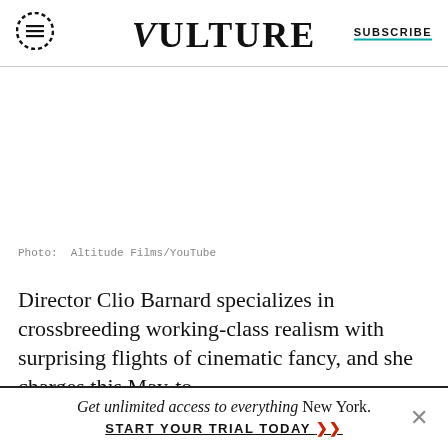VULTURE | SUBSCRIBE
[Figure (photo): Large image area (likely a film still or promotional image), blank/white in this render. Photo credit: Altitude Films/YouTube]
Photo: Altitude Films/YouTube
Director Clio Barnard specializes in crossbreeding working-class realism with surprising flights of cinematic fancy, and she charges this May-to-
Get unlimited access to everything New York. START YOUR TRIAL TODAY »